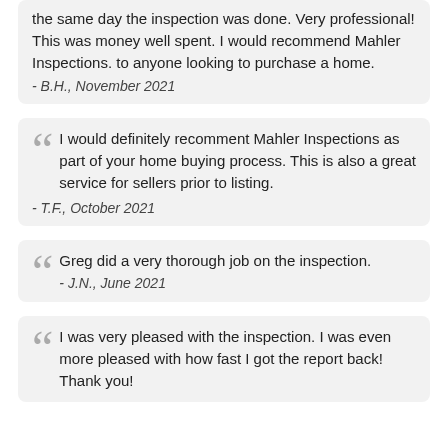the same day the inspection was done. Very professional! This was money well spent. I would recommend Mahler Inspections. to anyone looking to purchase a home.
- B.H., November 2021
I would definitely recomment Mahler Inspections as part of your home buying process. This is also a great service for sellers prior to listing.
- T.F., October 2021
Greg did a very thorough job on the inspection.
- J.N., June 2021
I was very pleased with the inspection. I was even more pleased with how fast I got the report back! Thank you!